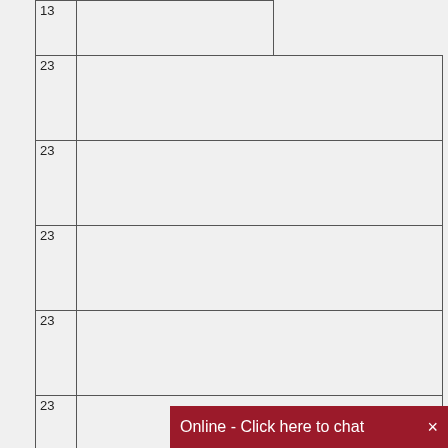| 13 |  |
| 23 |  |
| 23 |  |
| 23 |  |
| 23 |  |
| 23 |  |
| 23 |  |
| 38 |  |
| 38 |  |
| 38 |  |
| 38 |  |
| 38 |  |
| 38 |  |